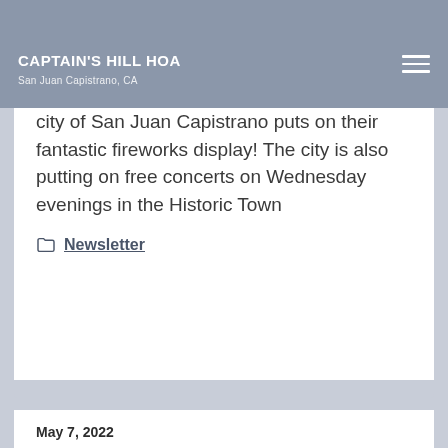CAPTAIN'S HILL HOA
San Juan Capistrano, CA
city of San Juan Capistrano puts on their fantastic fireworks display! The city is also putting on free concerts on Wednesday evenings in the Historic Town
Newsletter
May 7, 2022
May Newsletter
MAY 2022 LANDSCAPE REPORT: The committee continues to look for areas in the community that need to be improved. In the past several months plants have been added to many areas, most notably perhaps, along our portion of del Obispo. Gophers continue